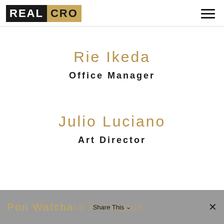REALCRO
Rie Ikeda
Office Manager
Julio Luciano
Art Director
Pon Watchara Knokapun  Share This ×